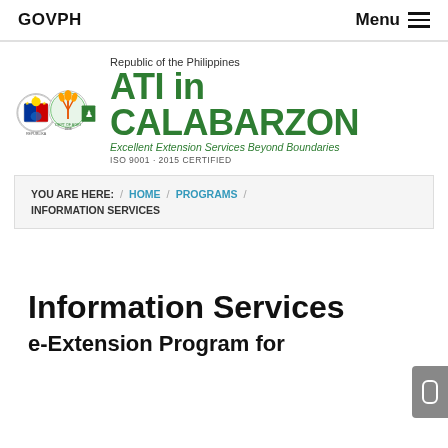GOVPH   Menu
[Figure (logo): ATI in CALABARZON logo with Philippine government seals and text: Republic of the Philippines, ATI in CALABARZON, Excellent Extension Services Beyond Boundaries, ISO 9001-2015 CERTIFIED]
YOU ARE HERE: / HOME / PROGRAMS / INFORMATION SERVICES
Information Services
e-Extension Program for